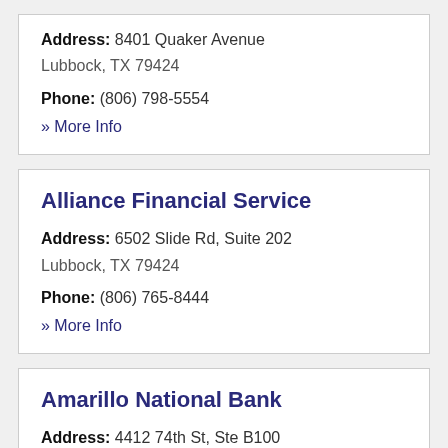Address: 8401 Quaker Avenue Lubbock, TX 79424
Phone: (806) 798-5554
» More Info
Alliance Financial Service
Address: 6502 Slide Rd, Suite 202 Lubbock, TX 79424
Phone: (806) 765-8444
» More Info
Amarillo National Bank
Address: 4412 74th St, Ste B100 Lubbock, TX 79424